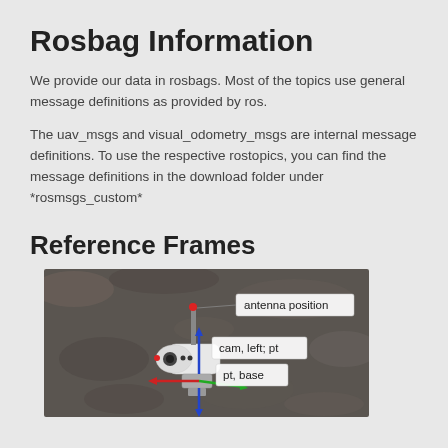Rosbag Information
We provide our data in rosbags. Most of the topics use general message definitions as provided by ros.
The uav_msgs and visual_odometry_msgs are internal message definitions. To use the respective rostopics, you can find the message definitions in the download folder under *rosmsgs_custom*
Reference Frames
[Figure (photo): Photo of a UAV/drone device on a rocky surface with labeled reference frame axes (red, green, blue arrows) and callout labels: 'antenna position', 'cam, left; pt', 'pt, base']